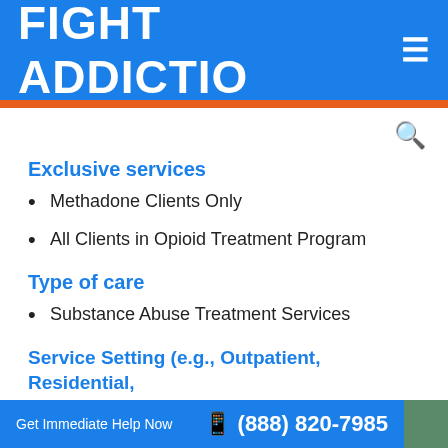FIGHT ADDICTIO ≡
Exclusive services
Methadone Clients Only
All Clients in Opioid Treatment Program
Type of care
Substance Abuse Treatment Services
Service Setting (e.g., Outpatient, Residential, Inpatient etc.)
Get Immediate Help Now  (888) 820-7985